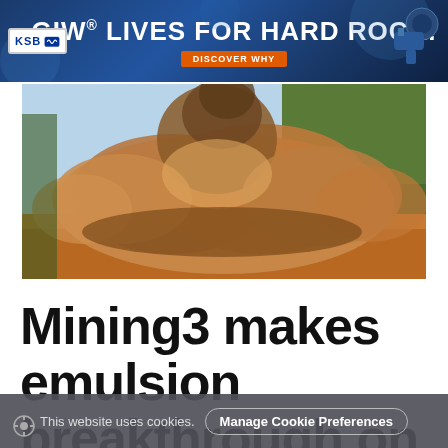[Figure (other): GIW brand banner advertisement with dark blue background. Text reads 'GIW® LIVES FOR HARD ROCK.' with KSB logo on left and industrial pump image on right. Orange 'DISCOVER WHY' button in center.]
[Figure (photo): Photograph of a large explosion or blast at a mining site, showing a massive cloud of brown dust and smoke rising into the sky, with trees visible in the background and red/orange soil in the foreground.]
Mining3 makes emulsion breakthrough on
This website uses cookies. Manage Cookie Preferences